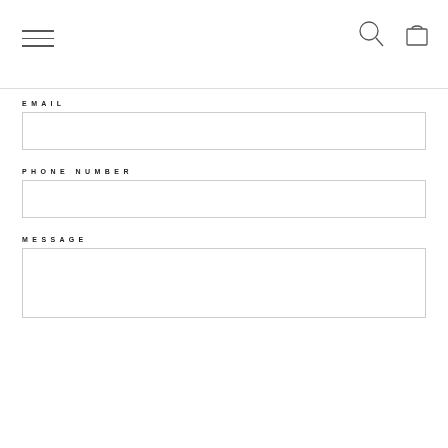Navigation header with hamburger menu, search icon, and cart icon
EMAIL
[Figure (other): Empty email input field box]
PHONE NUMBER
[Figure (other): Empty phone number input field box]
MESSAGE
[Figure (other): Empty message textarea box]